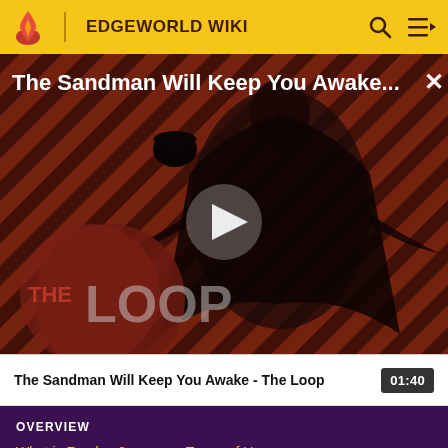EDGEWORLD WIKI
[Figure (screenshot): Video thumbnail for 'The Sandman Will Keep You Awake - The Loop' showing a dark-robed figure against a red diagonal striped background with The Loop logo in the lower left and a play button in the center]
The Sandman Will Keep You Awake - The Loop  01:40
OVERVIEW
What is Fandom?    Terms of Use